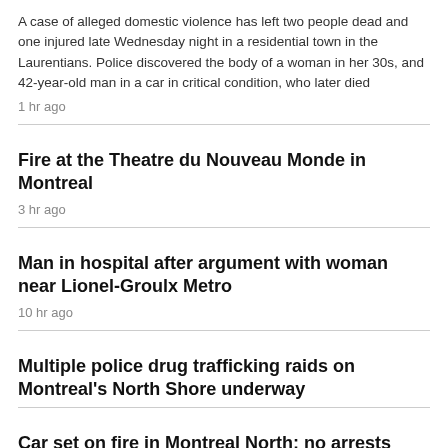A case of alleged domestic violence has left two people dead and one injured late Wednesday night in a residential town in the Laurentians. Police discovered the body of a woman in her 30s, and 42-year-old man in a car in critical condition, who later died
1 hr ago
Fire at the Theatre du Nouveau Monde in Montreal
3 hr ago
Man in hospital after argument with woman near Lionel-Groulx Metro
10 hr ago
Multiple police drug trafficking raids on Montreal's North Shore underway
Car set on fire in Montreal North; no arrests